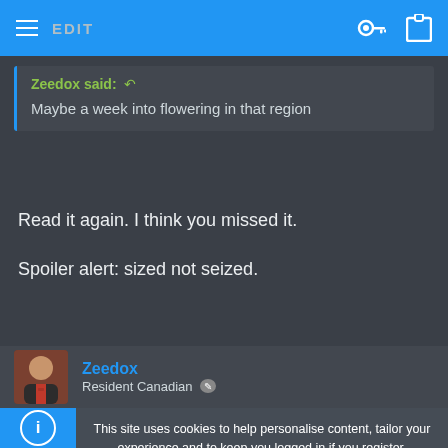EDIT
Zeedox said: ↩
Maybe a week into flowering in that region
Read it again. I think you missed it.

Spoiler alert: sized not seized.
Zeedox
Resident Canadian
This site uses cookies to help personalise content, tailor your experience and to keep you logged in if you register.
By continuing to use this site, you are consenting to our use of cookies.
Accept   Learn more...